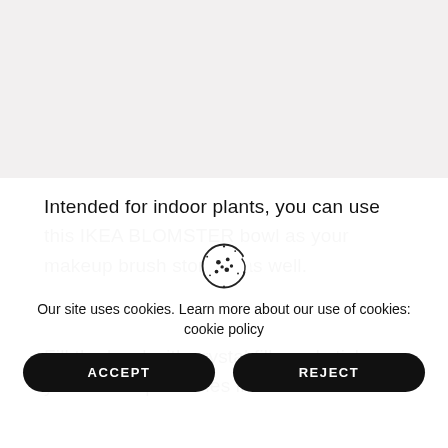[Figure (photo): Product photo placeholder area showing an IKEA BLOMSTER bowl, light gray background]
Intended for indoor plants, you can use this IKEA BLOMSTER bowl as your makeup brush storage as well.
Fill the bowl with crystal fills and stick your makeup brushes in there. Smartl
Our site uses cookies. Learn more about our use of cookies: cookie policy
ACCEPT
REJECT